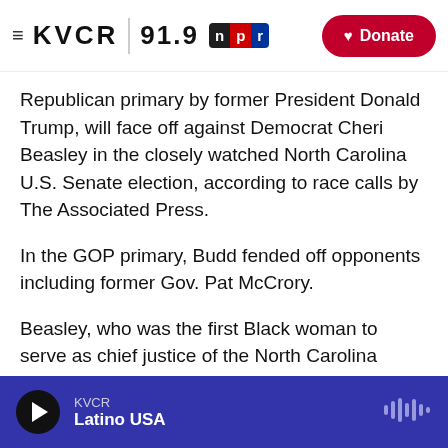KVCR 91.9 NPR | Donate
Republican primary by former President Donald Trump, will face off against Democrat Cheri Beasley in the closely watched North Carolina U.S. Senate election, according to race calls by The Associated Press.
In the GOP primary, Budd fended off opponents including former Gov. Pat McCrory.
Beasley, who was the first Black woman to serve as chief justice of the North Carolina Supreme Court, faced light opposition for the Democratic nomination. She coasted to the top after her main primary competitor dropped out of the race in
KVCR | Latino USA